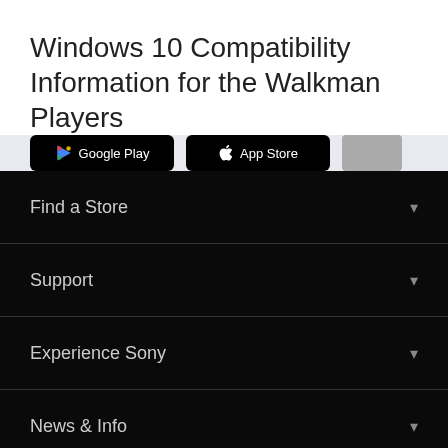Windows 10 Compatibility Information for the Walkman Players
[Figure (screenshot): App store download buttons: Google Play and App Store on dark background bar]
Find a Store
Support
Experience Sony
News & Info
Philippines